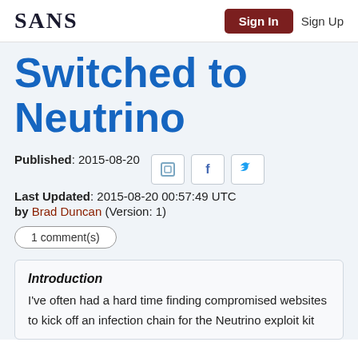SANS | Sign In | Sign Up
Switched to Neutrino
Published: 2015-08-20
Last Updated: 2015-08-20 00:57:49 UTC
by Brad Duncan (Version: 1)
1 comment(s)
Introduction
I've often had a hard time finding compromised websites to kick off an infection chain for the Neutrino exploit kit